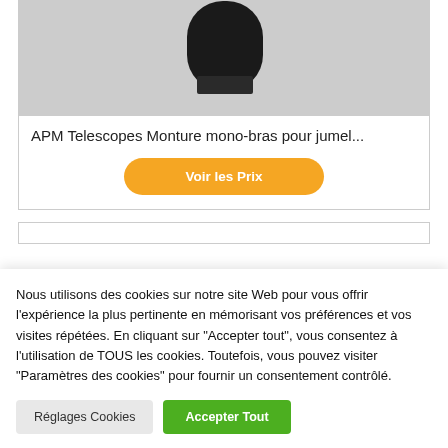[Figure (photo): Photo of a telescope mount product — dark cylindrical top against a light grey background]
APM Telescopes Monture mono-bras pour jumel...
Voir les Prix
Nous utilisons des cookies sur notre site Web pour vous offrir l'expérience la plus pertinente en mémorisant vos préférences et vos visites répétées. En cliquant sur "Accepter tout", vous consentez à l'utilisation de TOUS les cookies. Toutefois, vous pouvez visiter "Paramètres des cookies" pour fournir un consentement contrôlé.
Réglages Cookies
Accepter Tout